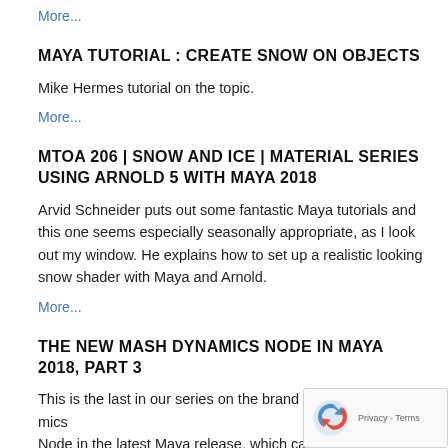More...
MAYA TUTORIAL : CREATE SNOW ON OBJECTS
Mike Hermes tutorial on the topic.
More...
MTOA 206 | SNOW AND ICE | MATERIAL SERIES USING ARNOLD 5 WITH MAYA 2018
Arvid Schneider puts out some fantastic Maya tutorials and this one seems especially seasonally appropriate, as I look out my window. He explains how to set up a realistic looking snow shader with Maya and Arnold.
More...
THE NEW MASH DYNAMICS NODE IN MAYA 2018, PART 3
This is the last in our series on the brand new MASH Dynamics Node in the latest Maya release, which came out at the end of